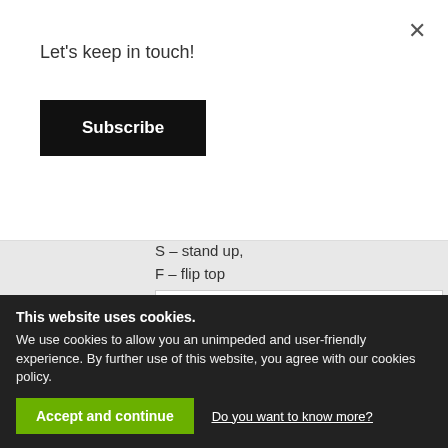Let's keep in touch!
Subscribe
S – stand up,
F – flip top
[Figure (illustration): Three container types labeled C (Conical), S (Stand-up), and F (Flip-top) shown as line drawings with red letter labels above each.]
The final marking is written behind the slash and provides a customer with the data on the version of the product. In our case, the number 14 our website from our product.
This website uses cookies.
We use cookies to allow you an unimpeded and user-friendly experience. By further use of this website, you agree with our cookies policy.
Accept and continue
Do you want to know more?